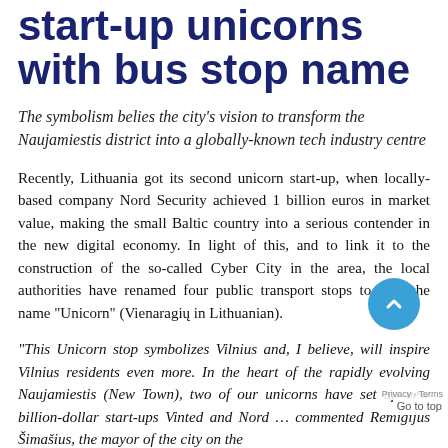start-up unicorns with bus stop name
The symbolism belies the city's vision to transform the Naujamiestis district into a globally-known tech industry centre
Recently, Lithuania got its second unicorn start-up, when locally-based company Nord Security achieved 1 billion euros in market value, making the small Baltic country into a serious contender in the new digital economy. In light of this, and to link it to the construction of the so-called Cyber City in the area, the local authorities have renamed four public transport stops to bear the name "Unicorn" (Vienaragių in Lithuanian).
“This Unicorn stop symbolizes Vilnius and, I believe, will inspire Vilnius residents even more. In the heart of the rapidly evolving Naujamiestis (New Town), two of our unicorns have set up new billion-dollar start-ups Vinted and Nord … commented Remigijus Šimašius, the mayor of the city on the